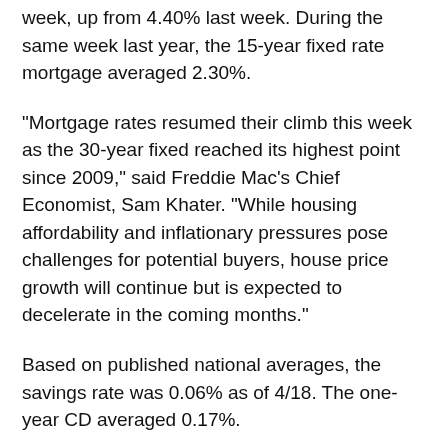week, up from 4.40% last week. During the same week last year, the 15-year fixed rate mortgage averaged 2.30%.
"Mortgage rates resumed their climb this week as the 30-year fixed reached its highest point since 2009," said Freddie Mac's Chief Economist, Sam Khater. "While housing affordability and inflationary pressures pose challenges for potential buyers, house price growth will continue but is expected to decelerate in the coming months."
Based on published national averages, the savings rate was 0.06% as of 4/18. The one-year CD averaged 0.17%.